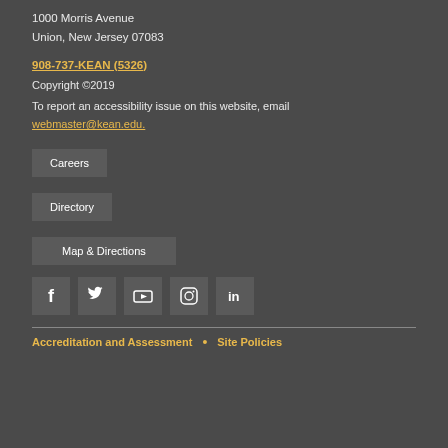1000 Morris Avenue
Union, New Jersey 07083
908-737-KEAN (5326)
Copyright ©2019
To report an accessibility issue on this website, email webmaster@kean.edu.
Careers
Directory
Map & Directions
[Figure (infographic): Row of social media icons: Facebook, Twitter, YouTube, Instagram, LinkedIn]
Accreditation and Assessment • Site Policies